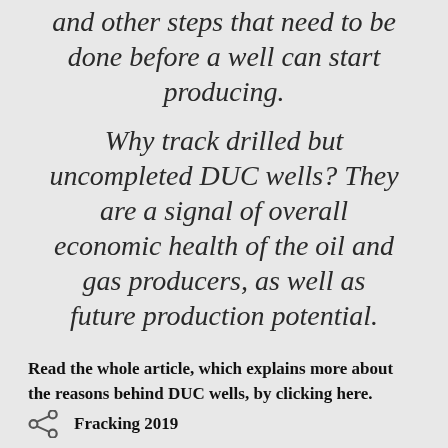and other steps that need to be done before a well can start producing.
Why track drilled but uncompleted DUC wells? They are a signal of overall economic health of the oil and gas producers, as well as future production potential.
Read the whole article, which explains more about the reasons behind DUC wells, by clicking here.
Fracking 2019